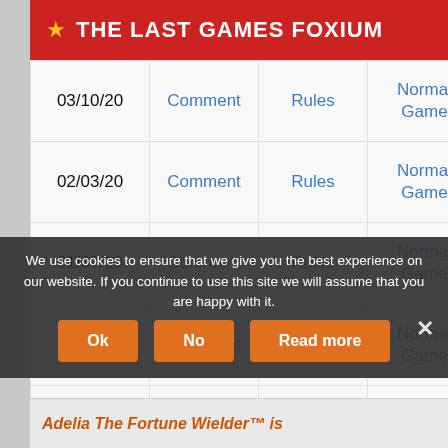★ THE LAST GAMES FOXIUM
| Date | Comment | Rules | Type |
| --- | --- | --- | --- |
| 03/10/20 | Comment | Rules | Normal Game |
| 02/03/20 | Comment | Rules | Normal Game |
| 01/07/20 | Comment | Rules | Normal Game |
| 12/16/19 | Comment | Rules | Normal Game |
| 11/07/19 | Comment | Rules | Normal Game |
We use cookies to ensure that we give you the best experience on our website. If you continue to use this site we will assume that you are happy with it.
Ok | No | Read more
Adelia The Fortune Wielder™ is